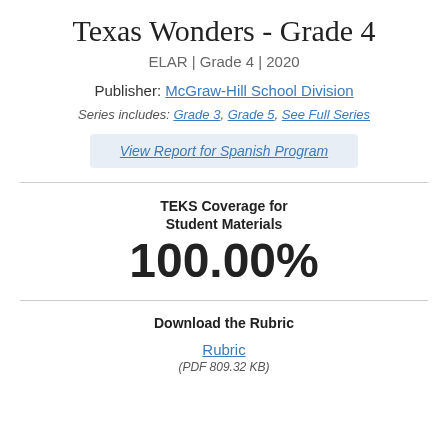Texas Wonders - Grade 4
ELAR | Grade 4 | 2020
Publisher: McGraw-Hill School Division
Series includes: Grade 3, Grade 5, See Full Series
View Report for Spanish Program
TEKS Coverage for Student Materials
100.00%
Download the Rubric
Rubric
(PDF 809.32 KB)